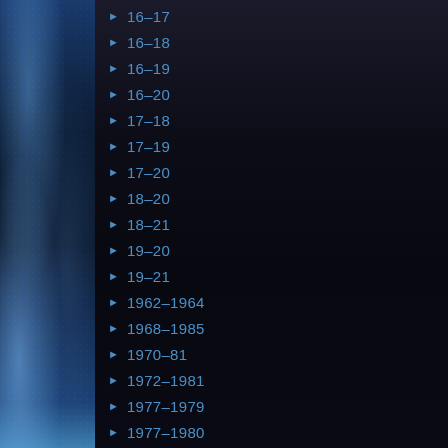[Figure (photo): Left strip: blue water splash/wave photography with dot grid overlay]
[Figure (photo): Center dark area with water droplets and abstract water shapes on dark background]
[Figure (photo): Right strip: blue water photography with dot grid overlay and navigation controls (next, previous, pause, grid)]
16–17
16–18
16–19
16–20
17–18
17–19
17–20
18–20
18–21
19–20
19–21
1962–1964
1968–1985
1970–81
1972–1981
1977–1979
1977–1980
1977–80
1978–1982
1981–1985
1982–1985